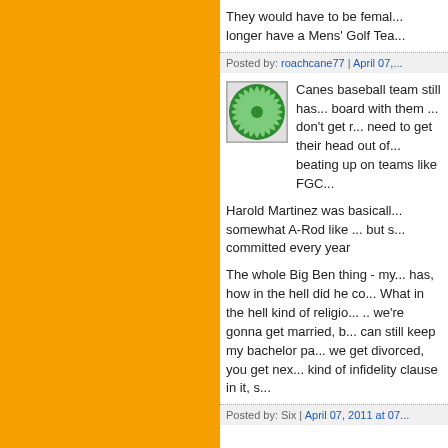They would have to be female... longer have a Mens' Golf Tea...
Posted by: roachcane77 | April 07,...
[Figure (photo): Green swirl avatar icon with spiral pattern]
Canes baseball team still has... board with them ... don't get r... need to get their head out of... beating up on teams like FGC...
Harold Martinez was basicall... somewhat A-Rod like ... but s... committed every year
The whole Big Ben thing - my... has, how in the hell did he co... What in the hell kind of religio... .. we're gonna get married, b... can still keep my bachelor pa... we get divorced, you get nex... kind of infidelity clause in it, s...
Posted by: Six | April 07, 2011 at 07...